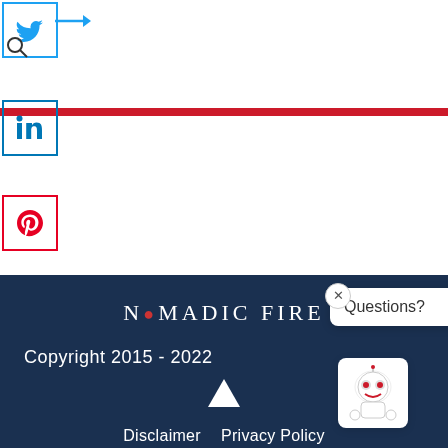[Figure (screenshot): Social media sharing icons: Twitter, LinkedIn, Pinterest in bordered boxes on white background with red horizontal line]
NOMADIC FIRE
Copyright 2015 - 2022
Disclaimer  Privacy Policy
[Figure (screenshot): Chat widget popup with 'Questions?' text and robot mascot icon]
[Figure (logo): SHE Media Collective - Lifestyle advertisement banner with 'Learn More | Privacy' link]
[Figure (screenshot): CVS ad: Spend $40, Get $10 ExtraBucks®]